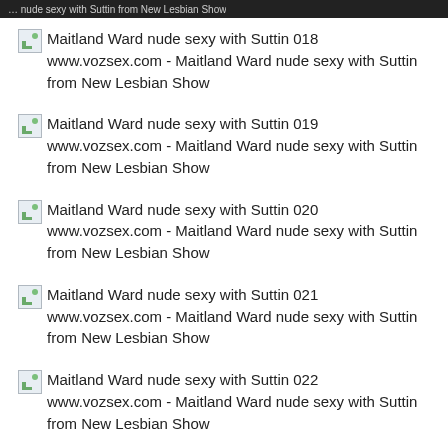… nude sexy with Suttin from New Lesbian Show
Maitland Ward nude sexy with Suttin 018 www.vozsex.com - Maitland Ward nude sexy with Suttin from New Lesbian Show
Maitland Ward nude sexy with Suttin 019 www.vozsex.com - Maitland Ward nude sexy with Suttin from New Lesbian Show
Maitland Ward nude sexy with Suttin 020 www.vozsex.com - Maitland Ward nude sexy with Suttin from New Lesbian Show
Maitland Ward nude sexy with Suttin 021 www.vozsex.com - Maitland Ward nude sexy with Suttin from New Lesbian Show
Maitland Ward nude sexy with Suttin 022 www.vozsex.com - Maitland Ward nude sexy with Suttin from New Lesbian Show
Maitland Ward nude sexy with Suttin 023 www.vozsex.com - Maitland Ward nude sexy with Suttin from New Lesbian Show
Maitland Ward nude sexy with Suttin 024 www.vozsex.com - Maitland Ward nude sexy with Suttin from New Lesbian Show